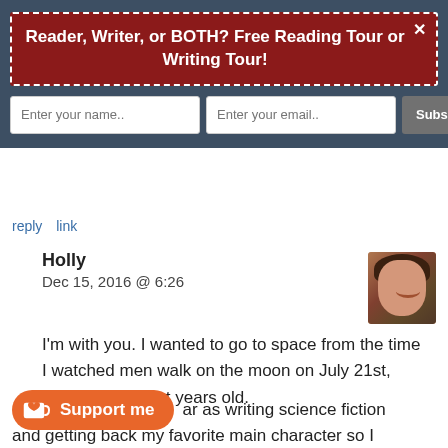Reader, Writer, or BOTH? Free Reading Tour or Writing Tour!
Enter your name..  Enter your email..  Subscribe Now
reply   link
Holly
Dec 15, 2016 @ 6:26
I'm with you. I wanted to go to space from the time I watched men walk on the moon on July 21st, 1969. I was eight years old.
Support me   ar as writing science fiction and getting back my favorite main character so I